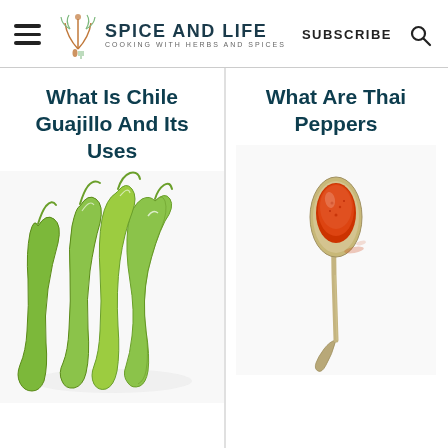SPICE AND LIFE — COOKING WITH HERBS AND SPICES | SUBSCRIBE
What Is Chile Guajillo And Its Uses
What Are Thai Peppers
[Figure (photo): Green chile guajillo peppers on a white background]
[Figure (photo): A spoon with red spice powder on a white background]